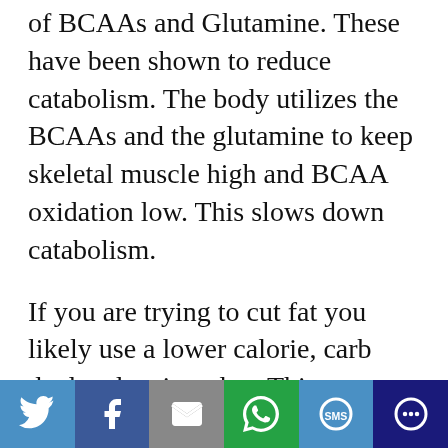of BCAAs and Glutamine. These have been shown to reduce catabolism. The body utilizes the BCAAs and the glutamine to keep skeletal muscle high and BCAA oxidation low. This slows down catabolism.
If you are trying to cut fat you likely use a lower calorie, carb depleted eating plan. This puts your body into a prime state for catabolism. One tip is to drink a mixture of BCAAs and glutamine...
[Figure (infographic): Social sharing toolbar with icons for Twitter, Facebook, Email, WhatsApp, SMS, and More]